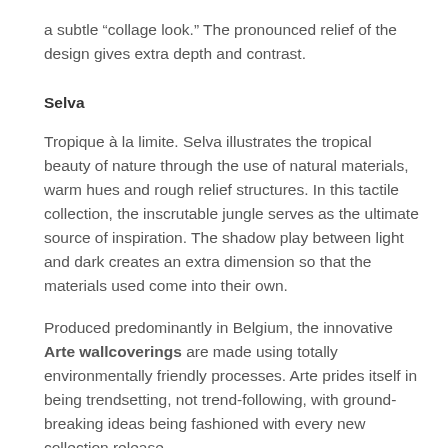a subtle “collage look.” The pronounced relief of the design gives extra depth and contrast.
Selva
Tropique à la limite. Selva illustrates the tropical beauty of nature through the use of natural materials, warm hues and rough relief structures. In this tactile collection, the inscrutable jungle serves as the ultimate source of inspiration. The shadow play between light and dark creates an extra dimension so that the materials used come into their own.
Produced predominantly in Belgium, the innovative Arte wallcoverings are made using totally environmentally friendly processes. Arte prides itself in being trendsetting, not trend-following, with ground-breaking ideas being fashioned with every new collection release.